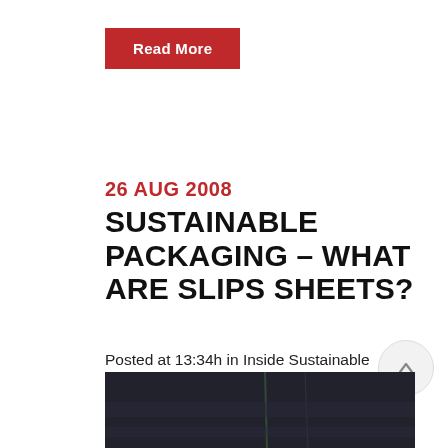Read More
26 AUG 2008
SUSTAINABLE PACKAGING – WHAT ARE SLIPS SHEETS?
Posted at 13:34h in Inside Sustainable Packaging, Sustainable Products by Dennis Salazar
[Figure (photo): Dark blue/grey stacked packaging materials, partially visible at bottom of page]